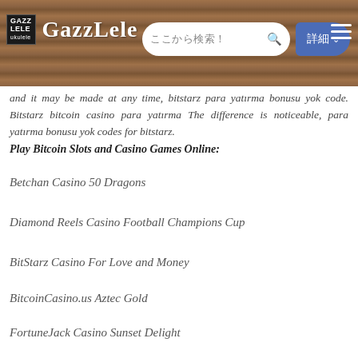GAZZLELE — ここから検索！ 詳細
and it may be made at any time, bitstarz para yatırma bonusu yok code. Bitstarz bitcoin casino para yatırma The difference is noticeable, para yatırma bonusu yok codes for bitstarz.
Play Bitcoin Slots and Casino Games Online:
Betchan Casino 50 Dragons
Diamond Reels Casino Football Champions Cup
BitStarz Casino For Love and Money
BitcoinCasino.us Aztec Gold
FortuneJack Casino Sunset Delight
mBit Casino Under the Sea
Oshi Casino True Illusions
Mars Casino Sails of Gold